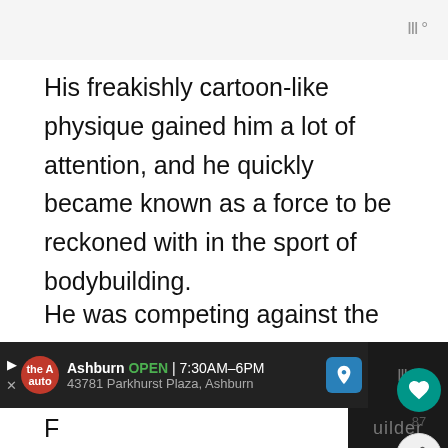His freakishly cartoon-like physique gained him a lot of attention, and he quickly became known as a force to be reckoned with in the sport of bodybuilding.
He was competing against the likes of Dorian Yates and Paul Dillet, who were both mass monsters, and managed to place amongst top eight in the 1996 and 1997 Mr. Olympia.
Ashburn OPEN 7:30AM–6PM 43781 Parkhurst Plaza, Ashburn